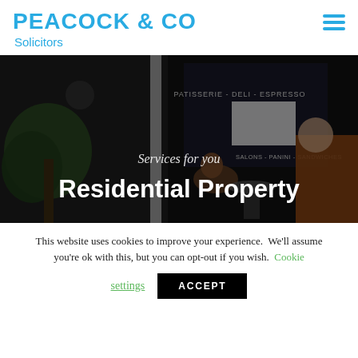PEACOCK & CO Solicitors
[Figure (photo): Street scene photo showing a patisserie/deli/espresso cafe storefront with people seated outside, heavily darkened. White text overlay reads 'Services for you' in italic and 'Residential Property' in large bold white font.]
This website uses cookies to improve your experience. We'll assume you're ok with this, but you can opt-out if you wish. Cookie settings ACCEPT